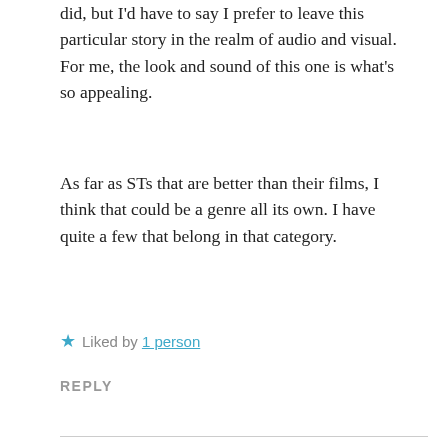did, but I'd have to say I prefer to leave this particular story in the realm of audio and visual. For me, the look and sound of this one is what's so appealing.
As far as STs that are better than their films, I think that could be a genre all its own. I have quite a few that belong in that category.
★ Liked by 1 person
REPLY
What do you think? Let me know